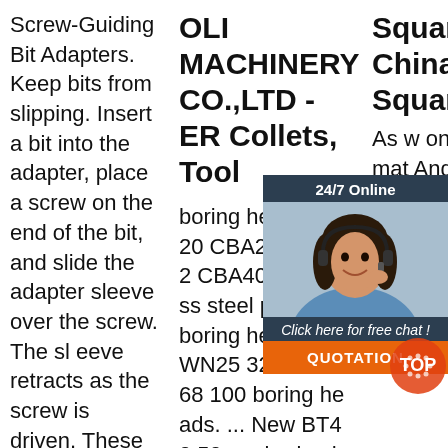Screw-Guiding Bit Adapters. Keep bits from slipping. Insert a bit into the adapter, place a screw on the end of the bit, and slide the adapter sleeve over the screw. The sleeve retracts as the screw is driven. These adapters hold hex-shank bits (also known as insert bits)
OLI MACHINERY CO.,LTD - ER Collets, Tool
boring head CBA 20 CBA25 CBA32 CBA40 stainless steel precision boring head EWN25 32 40 52 68 100 boring heads. ... New BT40 50mm boring head & shank 12 mm 9pcs borng
Square, China Shank Square Manufacturers
As well as from options, s, engineering, material. And shank square drill bit, center drill bit, or twist drill bit. There are 3,322 shank square suppliers, mainly
[Figure (other): Customer service chat widget with a woman wearing a headset, showing '24/7 Online', 'Click here for free chat!' and a QUOTATION button]
[Figure (other): TOP badge/watermark in orange/red tones]